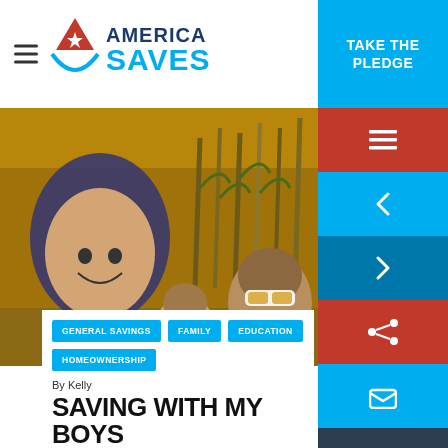America Saves
[Figure (photo): A woman wearing a blue hijab smiling with two boys in front of a cornfield background]
GENERAL SAVINGS
FAMILY
EDUCATION
HOMEOWNERSHIP
By Kelly
SAVING WITH MY BOYS
Kelly has made saving a family effort. She started her boys saving early. "Probably 3," Kelly told us, "when I